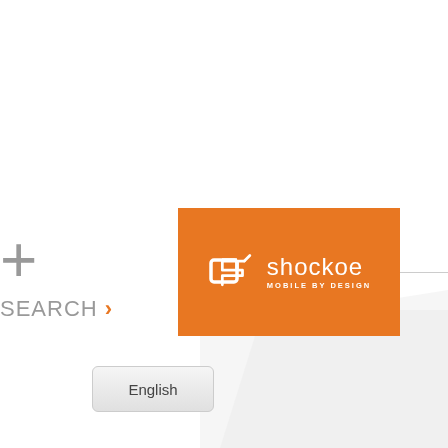[Figure (logo): Shockoe logo: orange rectangle with white S-mark icon and text 'shockoe MOBILE BY DESIGN']
+
SEARCH >
English